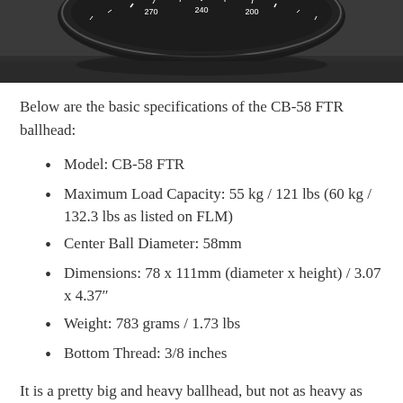[Figure (photo): Photo of a camera ballhead dial/knob with degree markings visible (240, 200 visible), taken from above on a dark surface.]
Below are the basic specifications of the CB-58 FTR ballhead:
Model: CB-58 FTR
Maximum Load Capacity: 55 kg / 121 lbs (60 kg / 132.3 lbs as listed on FLM)
Center Ball Diameter: 58mm
Dimensions: 78 x 111mm (diameter x height) / 3.07 x 4.37″
Weight: 783 grams / 1.73 lbs
Bottom Thread: 3/8 inches
It is a pretty big and heavy ballhead, but not as heavy as some other full-size ballheads on the market. For example, the RRS BH-55 is a bit heavier at 890 grams (although the bigger and